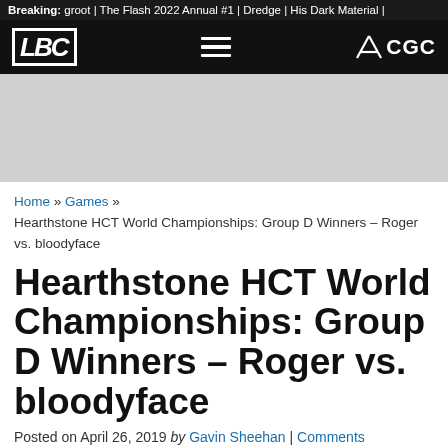Breaking: groot | The Flash 2022 Annual #1 | Dredge | His Dark Material |
[Figure (logo): LBC logo (white text with border) and CGC logo on black navigation bar with hamburger menu]
[Figure (other): Gray advertisement banner placeholder]
Home » Games » Hearthstone HCT World Championships: Group D Winners – Roger vs. bloodyface
Hearthstone HCT World Championships: Group D Winners – Roger vs. bloodyface
Posted on April 26, 2019 by Gavin Sheehan | Comments